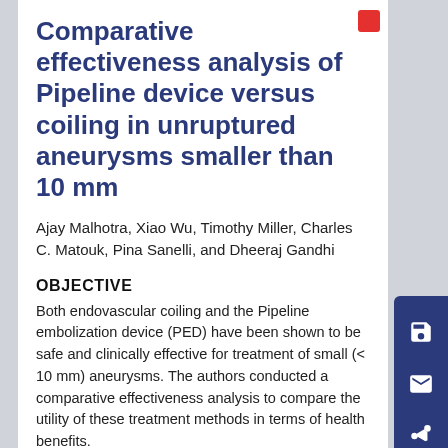Comparative effectiveness analysis of Pipeline device versus coiling in unruptured aneurysms smaller than 10 mm
Ajay Malhotra, Xiao Wu, Timothy Miller, Charles C. Matouk, Pina Sanelli, and Dheeraj Gandhi
OBJECTIVE
Both endovascular coiling and the Pipeline embolization device (PED) have been shown to be safe and clinically effective for treatment of small (< 10 mm) aneurysms. The authors conducted a comparative effectiveness analysis to compare the utility of these treatment methods in terms of health benefits.